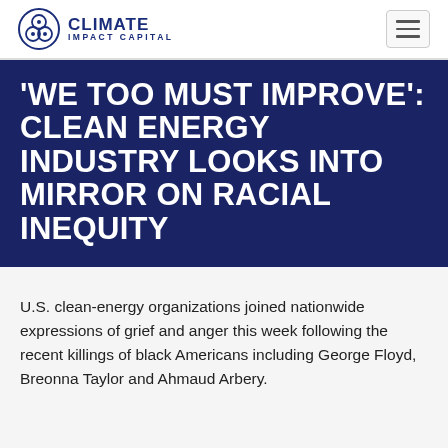CLIMATE IMPACT CAPITAL
‘WE TOO MUST IMPROVE’: CLEAN ENERGY INDUSTRY LOOKS INTO MIRROR ON RACIAL INEQUITY
U.S. clean-energy organizations joined nationwide expressions of grief and anger this week following the recent killings of black Americans including George Floyd, Breonna Taylor and Ahmaud Arbery.